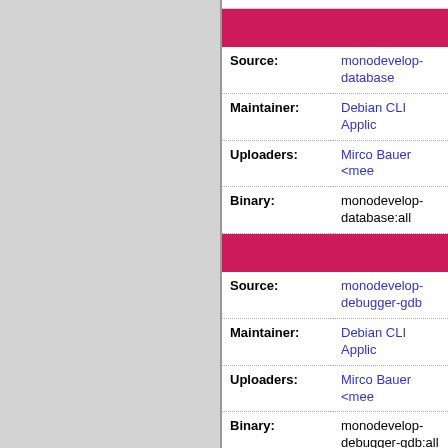| Field | Value |
| --- | --- |
| Source: | monodevelop-database |
| Maintainer: | Debian CLI Applic... |
| Uploaders: | Mirco Bauer <mee... |
| Binary: | monodevelop-database:all |
| Field | Value |
| --- | --- |
| Source: | monodevelop-debugger-gdb |
| Maintainer: | Debian CLI Applic... |
| Uploaders: | Mirco Bauer <mee... |
| Binary: | monodevelop-debugger-gdb:all |
| Field | Value |
| --- | --- |
| Source: | monodevelop-debugger-mdb |
| Maintainer: | Debian CLI Applic... |
| Uploaders: | Mirco Bauer <mee... |